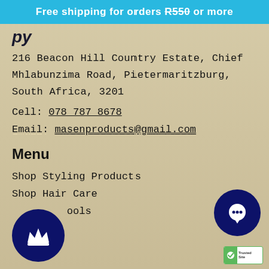Free shipping for orders R550 or more
216 Beacon Hill Country Estate, Chief Mhlabunzima Road, Pietermaritzburg, South Africa, 3201
Cell: 078 787 8678
Email: masenproducts@gmail.com
Menu
Shop Styling Products
Shop Hair Care
ools